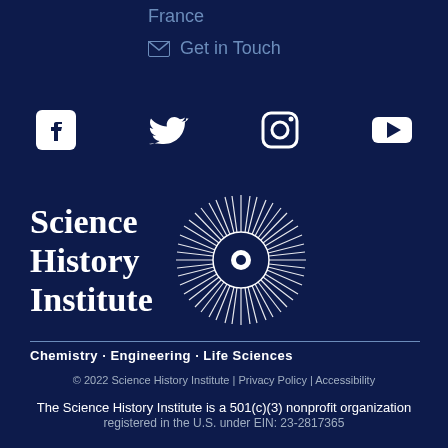France
✉ Get in Touch
[Figure (other): Social media icons: Facebook, Twitter, Instagram, YouTube]
[Figure (logo): Science History Institute logo with sunburst/atom graphic. Text reads: Science History Institute. Chemistry · Engineering · Life Sciences]
© 2022 Science History Institute | Privacy Policy | Accessibility
The Science History Institute is a 501(c)(3) nonprofit organization registered in the U.S. under EIN: 23-2817365